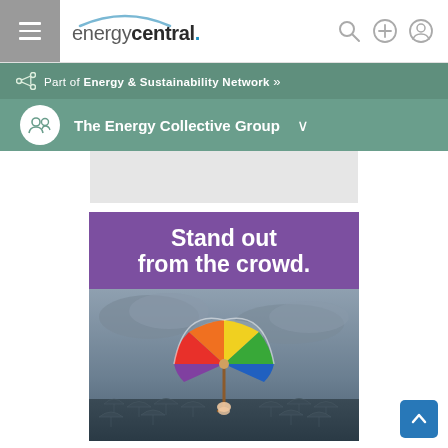energycentral.
Part of Energy & Sustainability Network »
The Energy Collective Group ∨
[Figure (illustration): Advertising banner with purple header text 'Stand out from the crowd.' and a photo below showing a colorful rainbow umbrella held by a hand above a crowd of gray umbrellas in a stormy scene.]